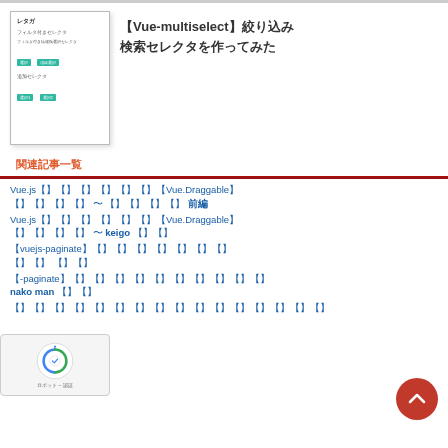[Figure (screenshot): Thumbnail screenshot showing a UI with filter selectors and tags in teal/green]
【Vue-multiselect】絞り込み検索セレクタを作ってみた
関連記事一覧
Vue.jsのドラッグアンドドロップ実装にVue.Draggableを使ってみた 〜 基本操作 前編
Vue.jsのドラッグアンドドロップ実装にVue.Draggableを使ってみた 〜 keigo 後編
【vuejs-paginate】パジネーションコンポーネントの使い方 前編
【vuejs-paginate】パジネーションコンポーネントの使い方 nako man 後編
Vue.Draggable…